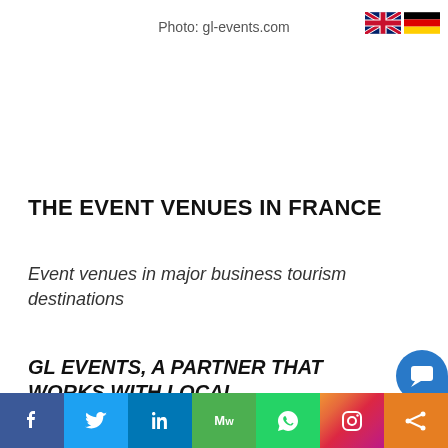Photo: gl-events.com
[Figure (illustration): UK and German flag icons for language selection]
THE EVENT VENUES IN FRANCE
Event venues in major business tourism destinations
GL EVENTS, A PARTNER THAT WORKS WITH LOCAL AUTHORITIES TO HELP DRIVE REGIONAL
[Figure (illustration): Social media sharing bar with Facebook, Twitter, LinkedIn, MeWe, WhatsApp, Instagram, and share icons]